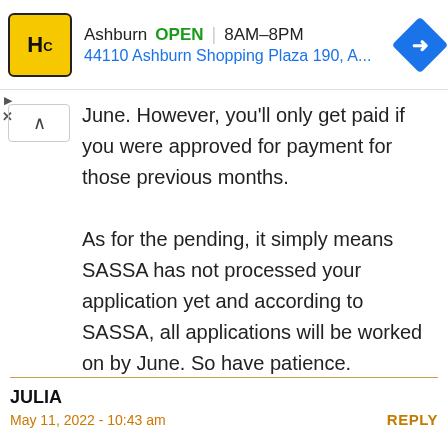[Figure (screenshot): Advertisement banner for HC (Haircuttery or similar) showing location: Ashburn, OPEN, 8AM-8PM, 44110 Ashburn Shopping Plaza 190, A... with yellow logo and blue navigation icon]
June. However, you'll only get paid if you were approved for payment for those previous months.
As for the pending, it simply means SASSA has not processed your application yet and according to SASSA, all applications will be worked on by June. So have patience.
JULIA
REPLY
May 11, 2022 - 10:43 am